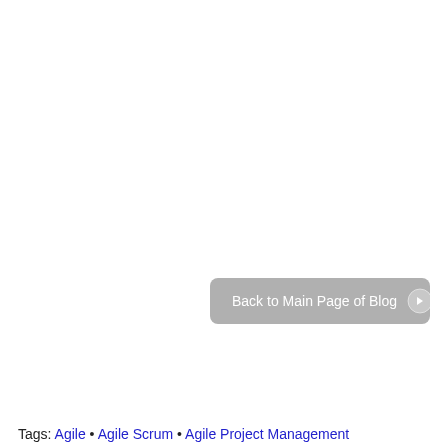[Figure (other): Gray rounded button labeled 'Back to Main Page of Blog' with a circular arrow icon on the right, positioned in the lower-right area of the page.]
Tags: Agile • Agile Scrum • Agile Project Management